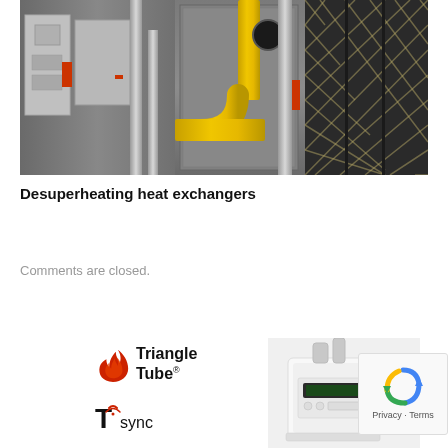[Figure (photo): Industrial HVAC/heating equipment room showing large metal tanks, silver ductwork, a prominent yellow gas pipe running vertically and bending, red indicator strips, and a mesh filter or heat exchanger on the right side.]
Desuperheating heat exchangers
Comments are closed.
[Figure (logo): Triangle Tube logo with flame icon on left and 'Triangle Tube' text in bold on right]
[Figure (photo): White boiler/heating unit product photo]
[Figure (logo): Tasync logo with stylized T and wifi signal icon]
[Figure (other): Google reCAPTCHA widget showing the reCAPTCHA logo with Privacy and Terms links]